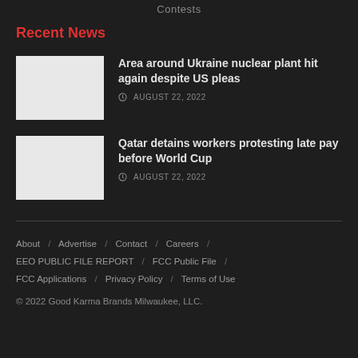Contests
Recent News
Area around Ukraine nuclear plant hit again despite US pleas
AUGUST 22, 2022
Qatar detains workers protesting late pay before World Cup
AUGUST 22, 2022
About / Advertise / Contact / Careers / EEO PUBLIC FILE REPORT / FCC Public File / FCC Applications / Privacy Policy / Terms of Use
© 2022 Good Karma Brands Milwaukee, LLC.